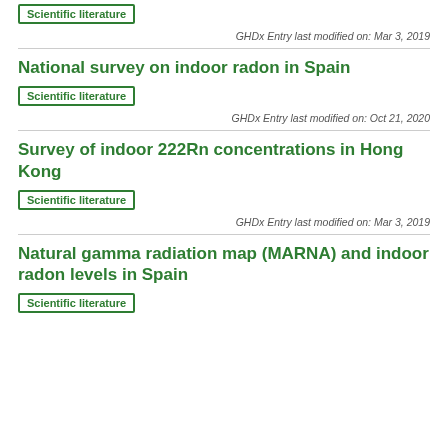Scientific literature
GHDx Entry last modified on: Mar 3, 2019
National survey on indoor radon in Spain
Scientific literature
GHDx Entry last modified on: Oct 21, 2020
Survey of indoor 222Rn concentrations in Hong Kong
Scientific literature
GHDx Entry last modified on: Mar 3, 2019
Natural gamma radiation map (MARNA) and indoor radon levels in Spain
Scientific literature